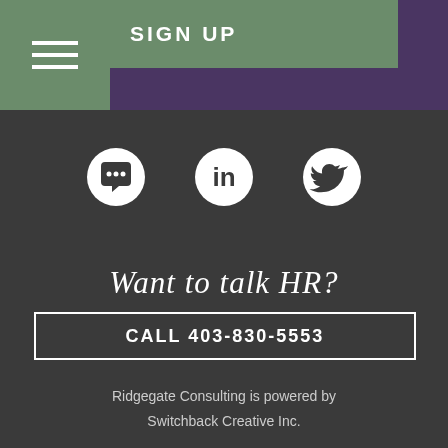SIGN UP
[Figure (illustration): Three circular social media icons: a speech bubble/chat icon, a LinkedIn icon, and a Twitter icon, all white on dark grey background]
Want to talk HR?
CALL 403-830-5553
Ridgegate Consulting is powered by Switchback Creative Inc.